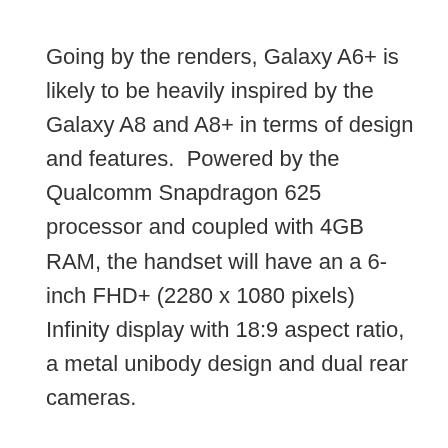Going by the renders, Galaxy A6+ is likely to be heavily inspired by the Galaxy A8 and A8+ in terms of design and features.  Powered by the Qualcomm Snapdragon 625 processor and coupled with 4GB RAM, the handset will have an a 6-inch FHD+ (2280 x 1080 pixels) Infinity display with 18:9 aspect ratio, a metal unibody design and dual rear cameras.
Conversely, according to leaks, the Galaxy A6 may come with a smaller 5.6-inch FHD+ resolution Infinity display and will be powered by Samsung's Exynos 7870 octa-core processor with 3GB RAM.